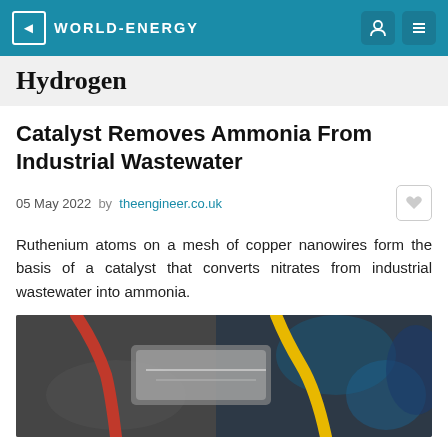WORLD-ENERGY
Hydrogen
Catalyst Removes Ammonia From Industrial Wastewater
05 May 2022  by theengineer.co.uk
Ruthenium atoms on a mesh of copper nanowires form the basis of a catalyst that converts nitrates from industrial wastewater into ammonia.
[Figure (photo): Close-up photo of laboratory or industrial equipment with red, yellow, and blue colored wires/tubes attached to metallic apparatus, blurred background.]